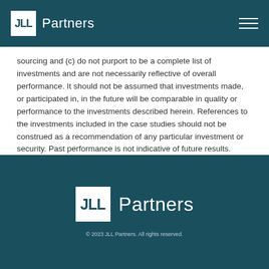JLL Partners
sourcing and (c) do not purport to be a complete list of investments and are not necessarily reflective of overall performance. It should not be assumed that investments made, or participated in, in the future will be comparable in quality or performance to the investments described herein. References to the investments included in the case studies should not be construed as a recommendation of any particular investment or security. Past performance is not indicative of future results.
JLL Partners